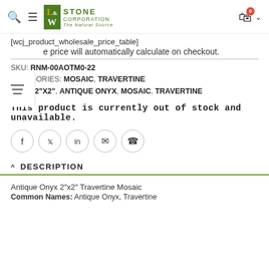[Figure (logo): L&W Stone Corporation - The Natural Source logo with green background square and yellow/white lettering]
[wcj_product_wholesale_price_table]
e price will automatically calculate on checkout.
SKU: RNM-00AOTM0-22
CATEGORIES: MOSAIC, TRAVERTINE
TAGS: 2"X2", ANTIQUE ONYX, MOSAIC, TRAVERTINE
This product is currently out of stock and unavailable.
DESCRIPTION
Antique Onyx 2″x2″ Travertine Mosaic
Common Names: Antique Onyx, Travertine